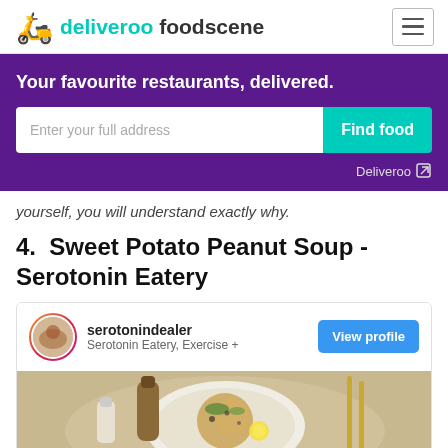deliveroo foodscene
[Figure (screenshot): Deliveroo banner with headline 'Your favourite restaurants, delivered.' and address search box with 'Find food' button]
yourself, you will understand exactly why.
4.  Sweet Potato Peanut Soup - Serotonin Eatery
[Figure (screenshot): Instagram embed card for serotonindealer showing profile info for Serotonin Eatery with View profile button and food image below]